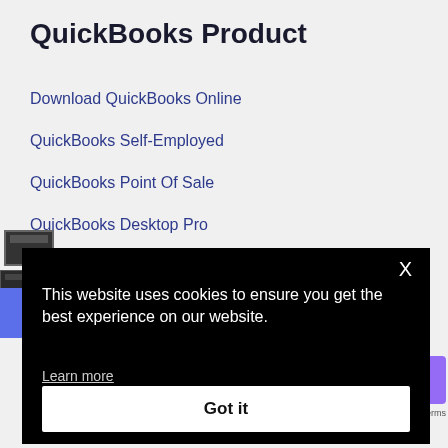QuickBooks Product
Download QuickBooks Online
QuickBooks Self-Employed
QuickBooks Point Of Sale
QuickBooks Desktop Pro
QuickBooks Desktop Premier
This website uses cookies to ensure you get the best experience on our website.
Learn more
Got it